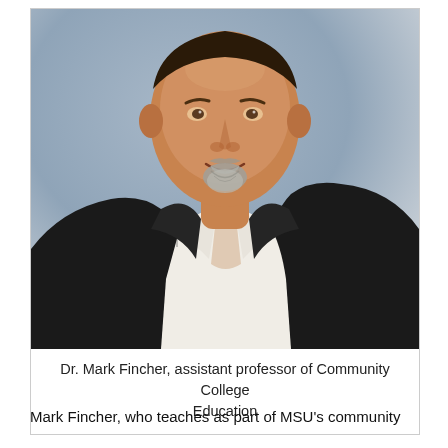[Figure (photo): Professional headshot of Dr. Mark Fincher, a middle-aged man with a gray goatee, smiling, wearing a black blazer over a white collared shirt, against a blue-gray studio background.]
Dr. Mark Fincher, assistant professor of Community College Education
Mark Fincher, who teaches as part of MSU's community